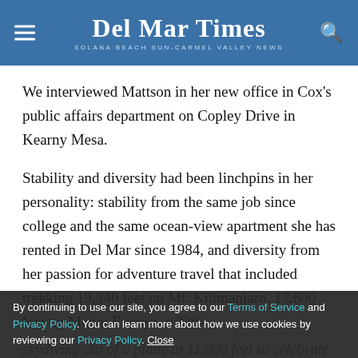Del Mar Times — Solana Beach Sun-Carmel Valley News
We interviewed Mattson in her new office in Cox's public affairs department on Copley Drive in Kearny Mesa.
Stability and diversity had been linchpins in her personality: stability from the same job since college and the same ocean-view apartment she has rented in Del Mar since 1984, and diversity from her passion for adventure travel that included trekking 19,340 feet up Mt. Kilimanjaro, 17,600 feet up Mount Everest, a 229- ... skydiving out of a plane at 11,000 feet to celebrate Leap Year.
By continuing to use our site, you agree to our Terms of Service and Privacy Policy. You can learn more about how we use cookies by reviewing our Privacy Policy. Close